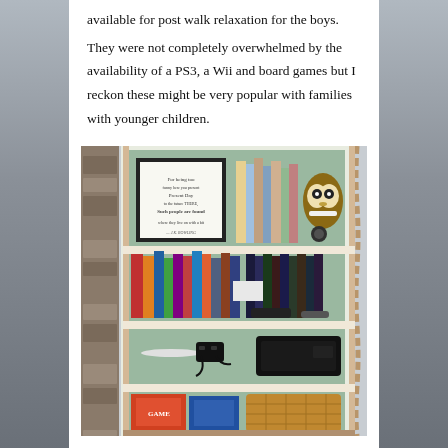available for post walk relaxation for the boys. They were not completely overwhelmed by the availability of a PS3, a Wii and board games but I reckon these might be very popular with families with younger children.
[Figure (photo): A white bookshelf unit with three visible shelves containing books, board games, DVDs/games cases, a framed print, a stuffed toy owl, a Wii console, and a wicker basket with board games. The shelf is set against a green wall beside a stone wall.]